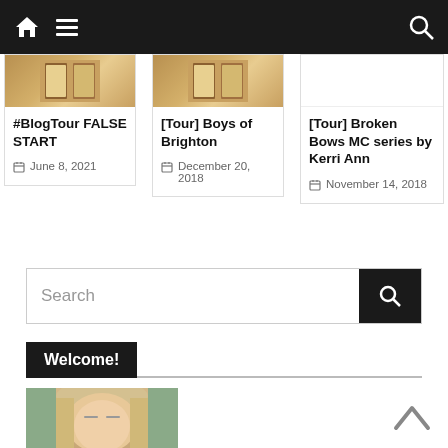Navigation bar with home icon, hamburger menu, and search icon
#BlogTour FALSE START
June 8, 2021
[Tour] Boys of Brighton
December 20, 2018
[Tour] Broken Bows MC series by Kerri Ann
November 14, 2018
Search
Welcome!
[Figure (photo): Portrait photo of a woman with blonde hair]